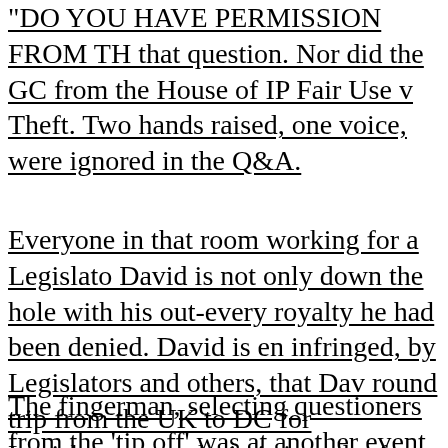"DO YOU HAVE PERMISSION FROM TH that question. Nor did the GC from the House of IP Fair Use v Theft. Two hands raised, one voice, were ignored in the Q&A.
Everyone in that room working for a Legislato David is not only down the hole with his out-every royalty he had been denied. David is en infringed, by Legislators and others, that Dav round trip from the UK to DC for Legislators round trip is in order from DC to UK to this a with a belt below their consciences lacking.gu Creators with sass enough to be blunt.
The fingerman, selecting questioners from the 'tip off' was at another event where the leaflet